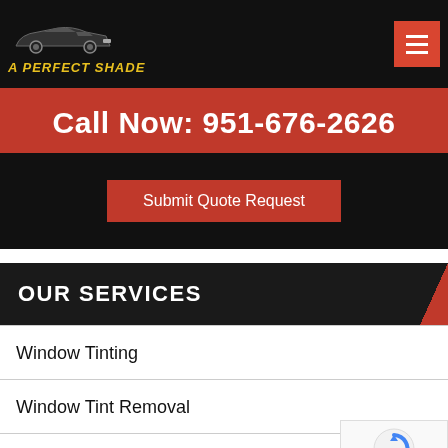A Perfect Shade
Call Now: 951-676-2626
Submit Quote Request
OUR SERVICES
Window Tinting
Window Tint Removal
Security Installation